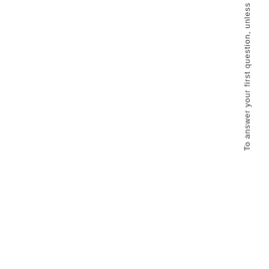To answer your first question, unless